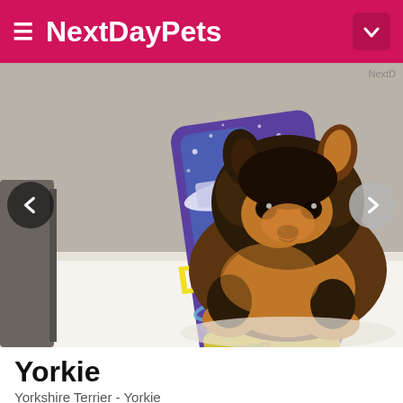NextDayPets
[Figure (photo): A tiny Yorkshire Terrier (Yorkie) puppy sitting next to a Swiffer Duster can for size comparison. The puppy has the characteristic black and tan fur coloring. The photo is taken on a white surface. Navigation arrows are visible on left and right sides of the image.]
Yorkie
Yorkshire Terrier - Yorkie